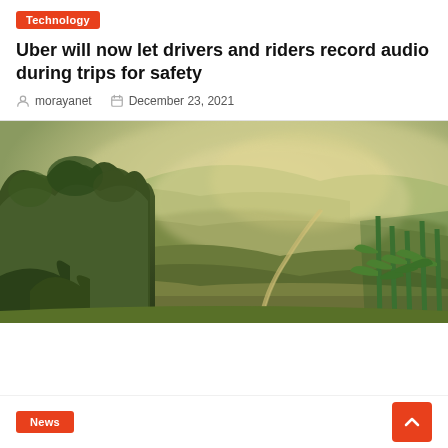Technology
Uber will now let drivers and riders record audio during trips for safety
morayanet   December 23, 2021
[Figure (photo): Landscape photo showing rolling green hills with trees on the left, misty light illuminating fields, and cornfield on the right foreground. A dirt path winds through the scene.]
News